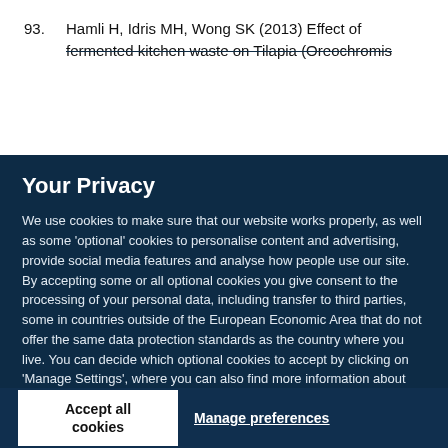93. Hamli H, Idris MH, Wong SK (2013) Effect of fermented kitchen waste on Tilapia (Oreochromis...
Your Privacy
We use cookies to make sure that our website works properly, as well as some ‘optional’ cookies to personalise content and advertising, provide social media features and analyse how people use our site. By accepting some or all optional cookies you give consent to the processing of your personal data, including transfer to third parties, some in countries outside of the European Economic Area that do not offer the same data protection standards as the country where you live. You can decide which optional cookies to accept by clicking on ‘Manage Settings’, where you can also find more information about how your personal data is processed. Further information can be found in our privacy policy.
Accept all cookies
Manage preferences